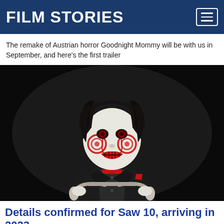FILM STORIES
The remake of Austrian horror Goodnight Mommy will be with us in September, and here’s the first trailer
[Figure (photo): Billy the Puppet from the Saw horror franchise, wearing a black suit with red bow tie and pocket square, riding a tricycle in a dark setting. The puppet has a white face with red spiral cheeks and red painted lips.]
Details confirmed for Saw 10, arriving in 2023